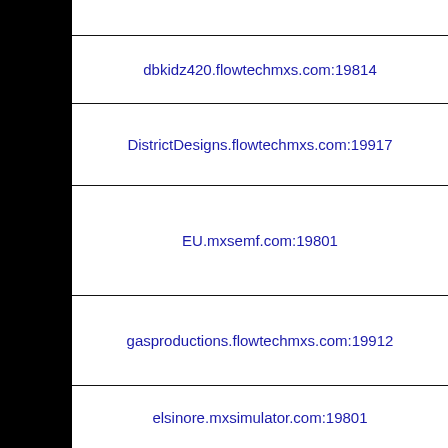dbkidz420.flowtechmxs.com:19814
DistrictDesigns.flowtechmxs.com:19917
EU.mxsemf.com:19801
gasproductions.flowtechmxs.com:19912
elsinore.mxsimulator.com:19801